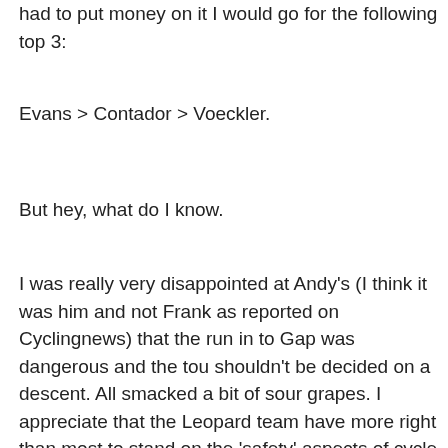had to put money on it I would go for the following top 3:
Evans > Contador > Voeckler.
But hey, what do I know.
I was really very disappointed at Andy's (I think it was him and not Frank as reported on Cyclingnews) that the run in to Gap was dangerous and the tou shouldn't be decided on a descent. All smacked a bit of sour grapes. I appreciate that the Leopard team have more right than most to stand on the 'safety' aspects of cycle racing, but his comments were out of order. Again, that said, there appears to be a lot of this sort of 'speak first think later' which I guess you can put down to post stage interviews